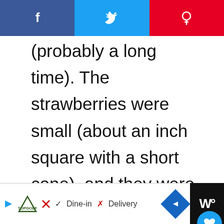[Figure (screenshot): Social media share bar with Facebook (blue), Twitter (blue), and Pinterest (red) buttons]
(probably a long time). The strawberries were small (about an inch square with a short cone), and they were very sweet (not tart at all). I am planning to grow some strawberries and would like to have that same familiar flavor, but I don't know where to begin to find them. Any ideas as to what was popular in that area during
[Figure (screenshot): Bottom advertisement bar with TopGolf logo, Dine-in and Delivery options, navigation arrow, and W logo on black background]